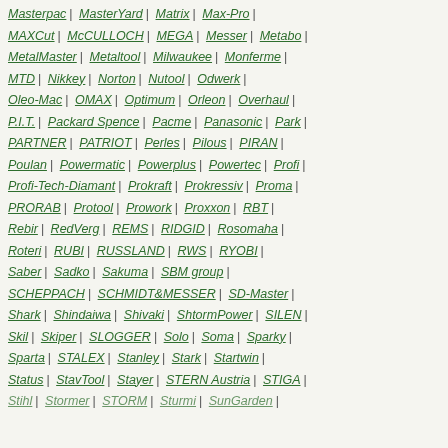Masterpac | MasterYard | Matrix | Max-Pro |
MAXCut | McCULLOCH | MEGA | Messer | Metabo |
MetalMaster | Metaltool | Milwaukee | Monferme |
MTD | Nikkey | Norton | Nutool | Odwerk |
Oleo-Mac | OMAX | Optimum | Orleon | Overhaul |
P.I.T. | Packard Spence | Pacme | Panasonic | Park |
PARTNER | PATRIOT | Perles | Pilous | PIRAN |
Poulan | Powermatic | Powerplus | Powertec | Profi |
Profi-Tech-Diamant | Prokraft | Prokressiv | Proma |
PRORAB | Protool | Prowork | Proxxon | RBT |
Rebir | RedVerg | REMS | RIDGID | Rosomaha |
Roteri | RUBI | RUSSLAND | RWS | RYOBI |
Saber | Sadko | Sakuma | SBM group |
SCHEPPACH | SCHMIDT&MESSER | SD-Master |
Shark | Shindaiwa | Shivaki | ShtormPower | SILEN |
Skil | Skiper | SLOGGER | Solo | Soma | Sparky |
Sparta | STALEX | Stanley | Stark | Startwin |
Status | StavTool | Stayer | STERN Austria | STIGA |
Stihl | Stormer | STORM | Sturmi | SunGarden |